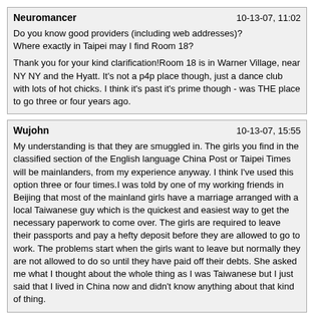Neuromancer | 10-13-07, 11:02
Do you know good providers (including web addresses)?
Where exactly in Taipei may I find Room 18?

Thank you for your kind clarification!Room 18 is in Warner Village, near NY NY and the Hyatt. It's not a p4p place though, just a dance club with lots of hot chicks. I think it's past it's prime though - was THE place to go three or four years ago.
Wujohn | 10-13-07, 15:55
My understanding is that they are smuggled in. The girls you find in the classified section of the English language China Post or Taipei Times will be mainlanders, from my experience anyway. I think I've used this option three or four times.I was told by one of my working friends in Beijing that most of the mainland girls have a marriage arranged with a local Taiwanese guy which is the quickest and easiest way to get the necessary paperwork to come over. The girls are required to leave their passports and pay a hefty deposit before they are allowed to go to work. The problems start when the girls want to leave but normally they are not allowed to do so until they have paid off their debts. She asked me what I thought about the whole thing as I was Taiwanese but I just said that I lived in China now and didn't know anything about that kind of thing.
Bnlee2 | 10-14-07, 02:18
Just got back from a KTV last night and had a blast. A friend just called me out of the blue and we got to this place. I will try to hookup with him again and find it.

Here is the scoop. Very private high end club, and they have electronic locks on the room door, so that no one can enter unexpectedly. Once the doors was closed and the music video started playing the the singing begins, you could playfully disrobe the gals. Half the girls in the room were almost totally naked